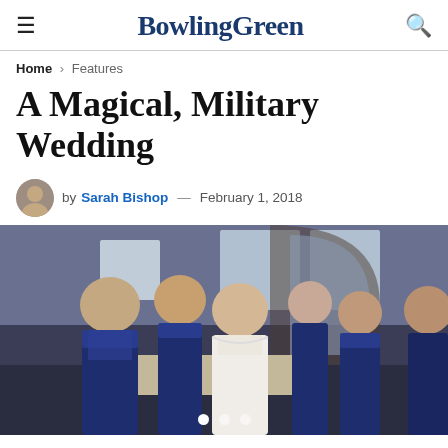BowlingGreen
Home > Features
A Magical, Military Wedding
by Sarah Bishop — February 1, 2018
[Figure (photo): Bride in white off-shoulder gown surrounded by bridesmaids in navy blue dresses, posed indoors in an elegant venue with arched windows and wood paneling.]